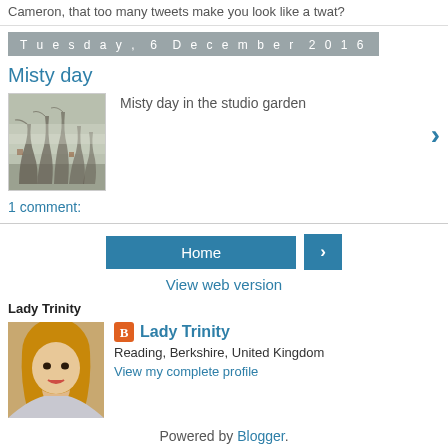Cameron, that too many tweets make you look like a twat?
Tuesday, 6 December 2016
Misty day
[Figure (photo): Misty day photo showing bare trees in fog]
Misty day in the studio garden
1 comment:
Home
View web version
Lady Trinity
[Figure (photo): Profile photo of Lady Trinity, a woman with blond hair]
Lady Trinity
Reading, Berkshire, United Kingdom
View my complete profile
Powered by Blogger.